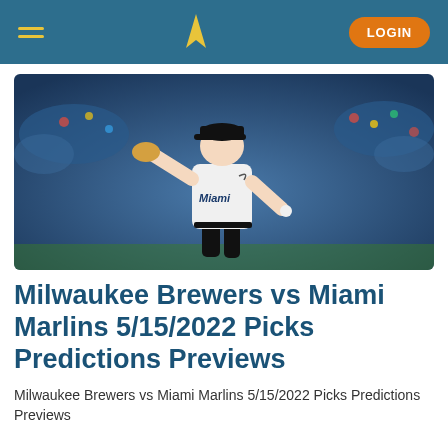TP — LOGIN
[Figure (photo): Miami Marlins pitcher in white uniform mid-windup on the mound, stadium crowd in background]
Milwaukee Brewers vs Miami Marlins 5/15/2022 Picks Predictions Previews
Milwaukee Brewers vs Miami Marlins 5/15/2022 Picks Predictions Previews